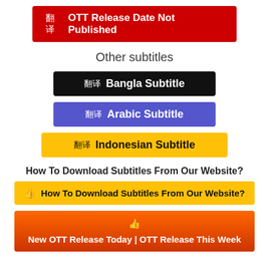OTT Release Date Not Published
Other subtitles
Bangla Subtitle
Arabic Subtitle
Indonesian Subtitle
How To Download Subtitles From Our Website?
How To Download Subtitles From Our Website?
New OTT Release Today | OTT Release This Week